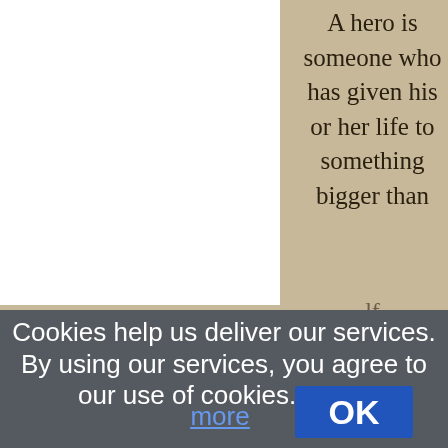[Figure (screenshot): Webpage screenshot showing a quote on a parchment/aged paper background: 'A hero is someone who has given his or her life to something bigger than oneself.' The left portion shows a white panel. Overlaid is a cookie consent banner (dark gray background) reading: 'Cookies help us deliver our services. By using our services, you agree to our use of cookies. Learn more' with an OK button.]
A hero is someone who has given his or her life to something bigger than oneself.
Cookies help us deliver our services. By using our services, you agree to our use of cookies. Learn more